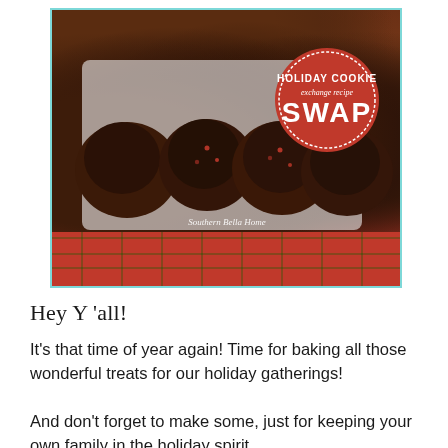[Figure (photo): Photo of chocolate cookies with red sprinkles on a white plate with plaid background, overlaid with a red circular badge reading 'HOLIDAY COOKIE exchange recipe SWAP'. Watermark reads 'Southern Bella Home'.]
Hey Y'all!
It's that time of year again! Time for baking all those wonderful treats for our holiday gatherings!
And don't forget to make some, just for keeping your own family in the holiday spirit.